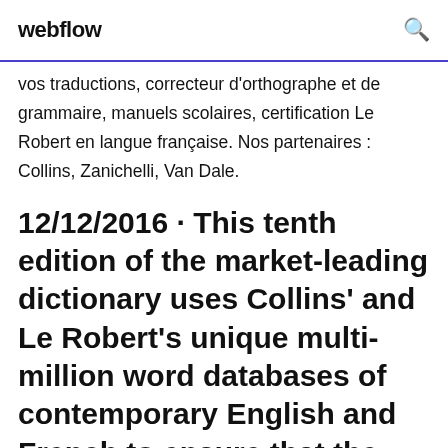webflow
vos traductions, correcteur d'orthographe et de grammaire, manuels scolaires, certification Le Robert en langue française. Nos partenaires : Collins, Zanichelli, Van Dale.
12/12/2016 · This tenth edition of the market-leading dictionary uses Collins' and Le Robert's unique multi-million word databases of contemporary English and French to ensure that the user has the most complete and accurate picture of real language available today. The